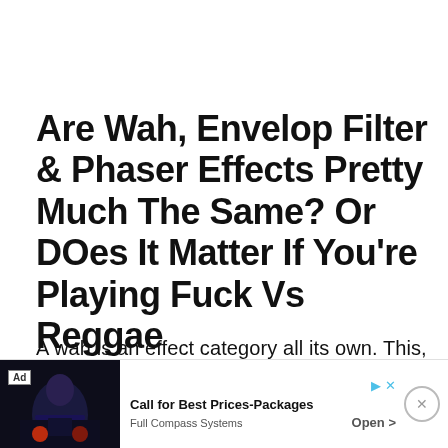Are Wah, Envelop Filter & Phaser Effects Pretty Much The Same? Or DOes It Matter If You're Playing Fuck Vs Reggae
A wah is an effect category all its own. This, however, doesn't mean that there are...
[Figure (screenshot): Advertisement banner at bottom of page: Ad label, concert/performance photo on left, text 'Call for Best Prices-Packages' and 'Full Compass Systems' with 'Open >' button, and X close button on right]